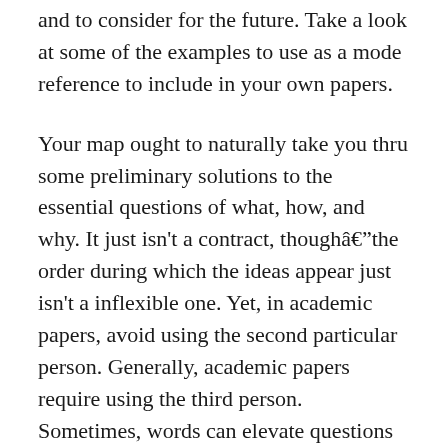and to consider for the future. Take a look at some of the examples to use as a mode reference to include in your own papers.
Your map ought to naturally take you thru some preliminary solutions to the essential questions of what, how, and why. It just isn't a contract, thoughâthe order during which the ideas appear just isn't a inflexible one. Yet, in academic papers, avoid using the second particular person. Generally, academic papers require using the third person. Sometimes, words can elevate questions and lead to misunderstandings.